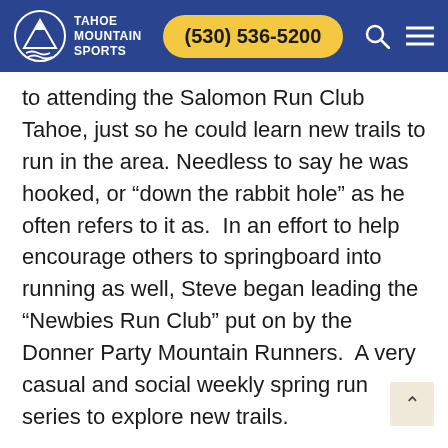Tahoe Mountain Sports | (530) 536-5200
to attending the Salomon Run Club Tahoe, just so he could learn new trails to run in the area. Needless to say he was hooked, or “down the rabbit hole” as he often refers to it as.  In an effort to help encourage others to springboard into running as well, Steve began leading the “Newbies Run Club” put on by the Donner Party Mountain Runners.  A very casual and social weekly spring run series to explore new trails.
Natalie Bladis